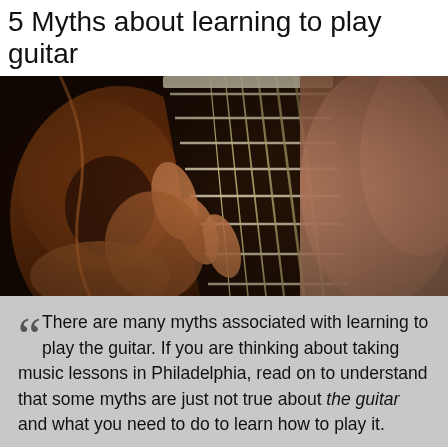5 Myths about learning to play guitar
[Figure (photo): Close-up photo of a person's hands playing an acoustic guitar, showing the strings and fretboard in detail with shallow depth of field.]
“There are many myths associated with learning to play the guitar. If you are thinking about taking music lessons in Philadelphia, read on to understand that some myths are just not true about the guitar and what you need to do to learn how to play it.